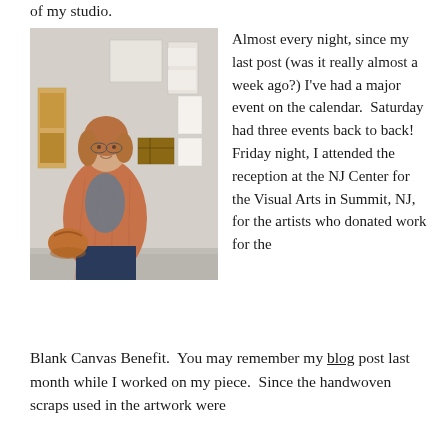of my studio.
[Figure (photo): A woman with shoulder-length auburn hair, wearing glasses, an orange/salmon plaid jacket, dark scarf, dark jeans, and carrying an orange handbag. She is standing and smiling in front of a white wall with artwork displayed on it.]
Almost every night, since my last post (was it really almost a week ago?) I've had a major event on the calendar.  Saturday had three events back to back!  Friday night, I attended the reception at the NJ Center for the Visual Arts in Summit, NJ, for the artists who donated work for the Blank Canvas Benefit.  You may remember my blog post last month while I worked on my piece.  Since the handwoven scraps used in the artwork were